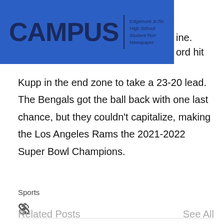CAMPUS | Edgemont Jr./Sr. High School Student Run Newspaper
ine.
ord hit
Kupp in the end zone to take a 23-20 lead. The Bengals got the ball back with one last chance, but they couldn't capitalize, making the Los Angeles Rams the 2021-2022 Super Bowl Champions.
Sports
Related Posts
See All